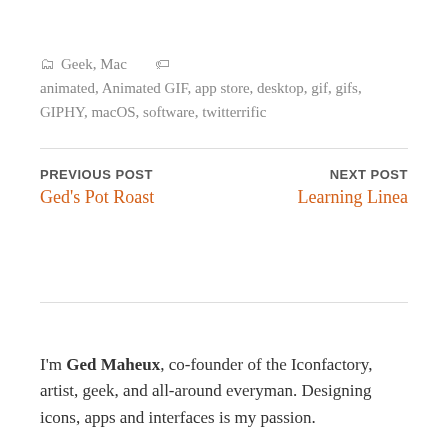Geek, Mac   animated, Animated GIF, app store, desktop, gif, gifs, GIPHY, macOS, software, twitterrific
PREVIOUS POST
Ged's Pot Roast
NEXT POST
Learning Linea
I'm Ged Maheux, co-founder of the Iconfactory, artist, geek, and all-around everyman. Designing icons, apps and interfaces is my passion.